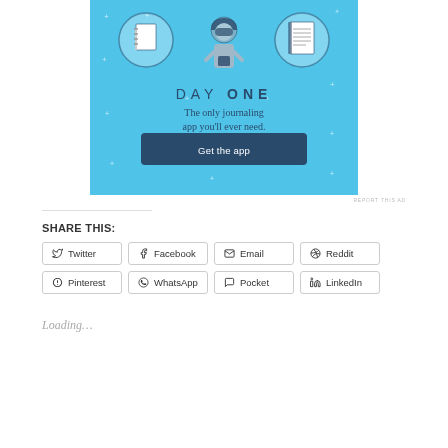[Figure (illustration): Day One journaling app advertisement. Light blue background with small white cross/star decorations. Three circular icons at top: blank notebook, cartoon person holding phone, lined notepad. Text: 'DAY ONE — The only journaling app you'll ever need.' Button: 'Get the app'. Text 'REPORT THIS AD' in bottom right.]
REPORT THIS AD
SHARE THIS:
Twitter
Facebook
Email
Reddit
Pinterest
WhatsApp
Pocket
LinkedIn
Loading...